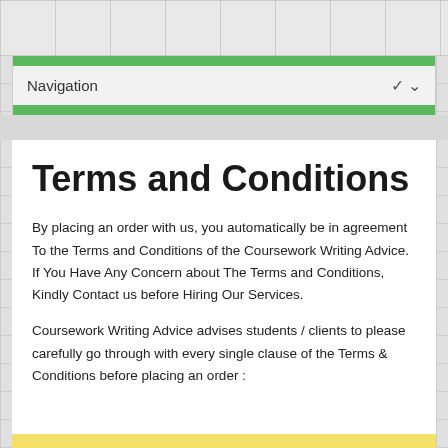Navigation
Terms and Conditions
By placing an order with us, you automatically be in agreement To the Terms and Conditions of the Coursework Writing Advice. If You Have Any Concern about The Terms and Conditions, Kindly Contact us before Hiring Our Services.
Coursework Writing Advice advises students / clients to please carefully go through with every single clause of the Terms & Conditions before placing an order :